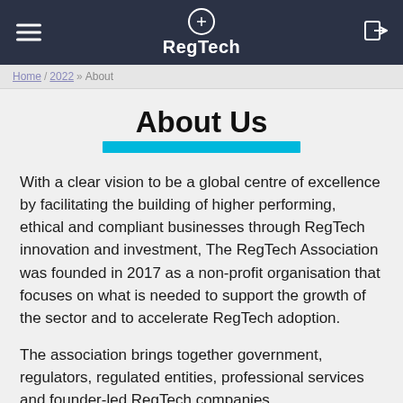RegTech
Home / 2022 » About
About Us
With a clear vision to be a global centre of excellence by facilitating the building of higher performing, ethical and compliant businesses through RegTech innovation and investment, The RegTech Association was founded in 2017 as a non-profit organisation that focuses on what is needed to support the growth of the sector and to accelerate RegTech adoption.
The association brings together government, regulators, regulated entities, professional services and founder-led RegTech companies